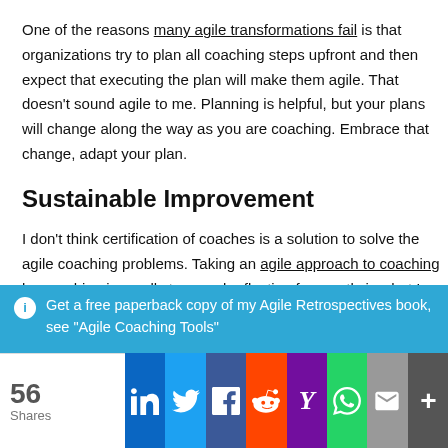One of the reasons many agile transformations fail is that organizations try to plan all coaching steps upfront and then expect that executing the plan will make them agile. That doesn't sound agile to me. Planning is helpful, but your plans will change along the way as you are coaching. Embrace that change, adapt your plan.
Sustainable Improvement
I don't think certification of coaches is a solution to solve the agile coaching problems. Taking an agile approach to coaching by coaching in small steps and reflecting frequently is what I recommend, which I already described in 2013 in Short-cycled Improvement. The results of agile coaching should be inspected
Get a free paperback copy of my Agile Retrospectives book, see "Agile Coaching Tools"
56 Shares